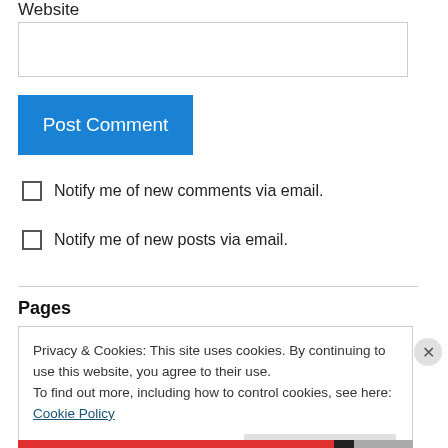Website
Post Comment
Notify me of new comments via email.
Notify me of new posts via email.
Pages
Privacy & Cookies: This site uses cookies. By continuing to use this website, you agree to their use.
To find out more, including how to control cookies, see here: Cookie Policy
Close and accept